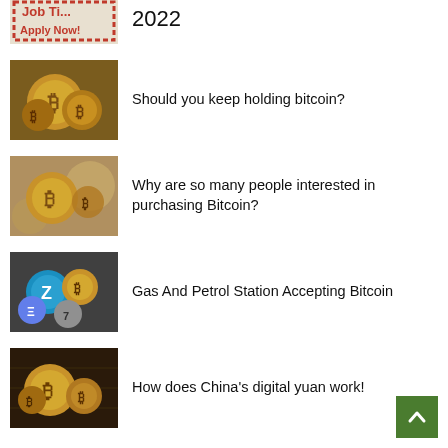[Figure (illustration): Partial view of a job listing stamp image with 'Apply Now!' text, partially cropped at top]
2022
[Figure (photo): Gold Bitcoin coins stacked on surface]
Should you keep holding bitcoin?
[Figure (photo): Bitcoin coins with blurred background]
Why are so many people interested in purchasing Bitcoin?
[Figure (photo): Various cryptocurrency coins including Zcash and Bitcoin]
Gas And Petrol Station Accepting Bitcoin
[Figure (photo): Gold Bitcoin coins with digital/circuit background]
How does China’s digital yuan work!